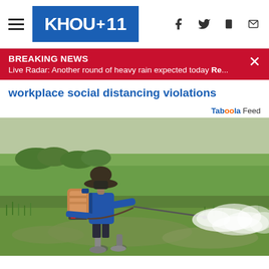KHOU 11
BREAKING NEWS
Live Radar: Another round of heavy rain expected today Re...
workplace social distancing violations
Taboola Feed
[Figure (photo): Person wearing a hat and blue long-sleeve shirt carrying a backpack sprayer, walking through a flooded green rice field and spraying pesticide or herbicide from a wand, creating a white mist cloud.]